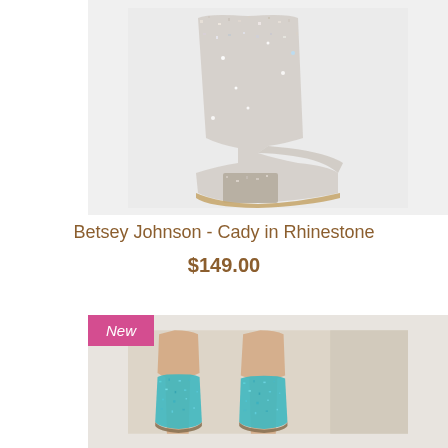[Figure (photo): A silver/rhinestone glitter ankle boot with block heel and pointed toe, photographed against a light gray background]
Betsey Johnson - Cady in Rhinestone
$149.00
[Figure (photo): Legs wearing teal/turquoise glitter ankle boots, with a 'New' badge overlay in the top-left corner of the image]